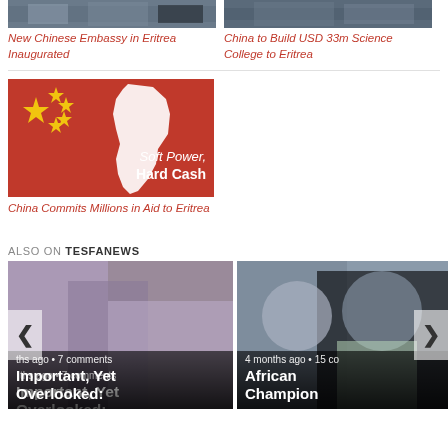[Figure (photo): Photo of New Chinese Embassy in Eritrea, top-left]
New Chinese Embassy in Eritrea Inaugurated
[Figure (photo): Photo for China to Build USD 33m Science College to Eritrea, top-right]
China to Build USD 33m Science College to Eritrea
[Figure (photo): Image with Chinese flag and Africa silhouette, text 'Soft Power, Hard Cash']
China Commits Millions in Aid to Eritrea
ALSO ON TESFANEWS
[Figure (photo): Carousel card left: woman with child, 'Important, Yet Overlooked:' headline, months ago · 7 comments]
[Figure (photo): Carousel card right: two men posing, 'African Champion' headline, 4 months ago · 15 comments]